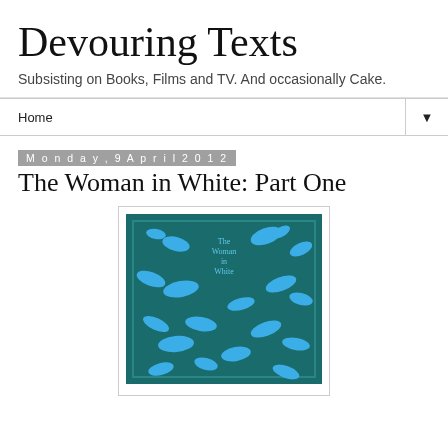Devouring Texts
Subsisting on Books, Films and TV. And occasionally Cake.
Home ▼
Monday, 9 April 2012
The Woman in White: Part One
[Figure (photo): Book cover of 'The Woman in White' — teal/dark green background with blue bird silhouettes flying across the cover, with the book title in light blue text near the top center.]